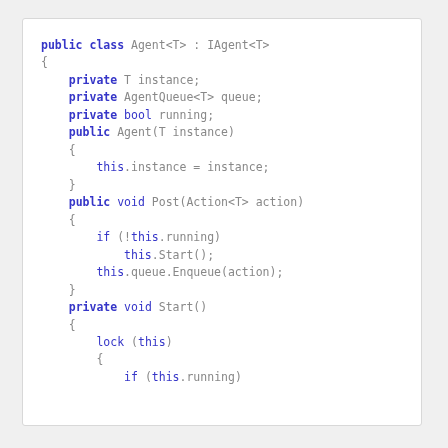[Figure (screenshot): Code snippet showing a C# class definition for Agent<T> implementing IAgent<T>, with private fields, constructor, Post method, and beginning of Start method with lock statement.]